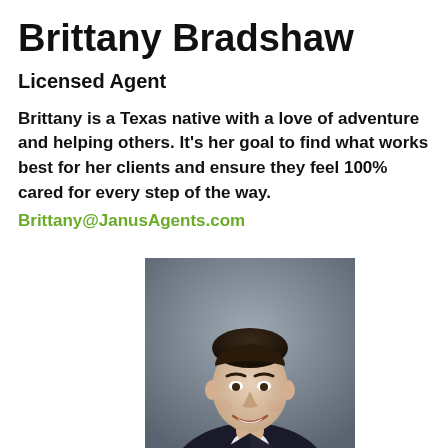Brittany Bradshaw
Licensed Agent
Brittany is a Texas native with a love of adventure and helping others. It's her goal to find what works best for her clients and ensure they feel 100% cared for every step of the way.
Brittany@JanusAgents.com
[Figure (photo): Professional headshot of a young man in a dark suit, smiling, with a grey blurred background]